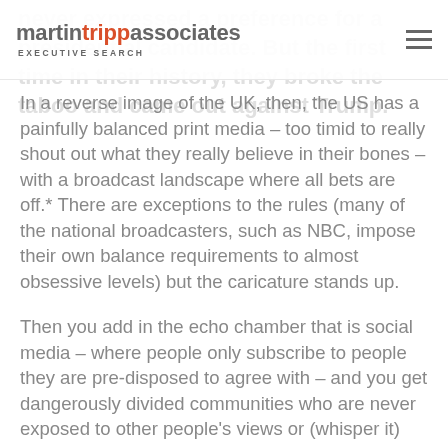martin tripp associates EXECUTIVE SEARCH
never expressed a preference for a presidential candidate. But the first time in their history, they broke the taboo and came out against Trump.
In a reverse image of the UK, then, the US has a painfully balanced print media – too timid to really shout out what they really believe in their bones – with a broadcast landscape where all bets are off.* There are exceptions to the rules (many of the national broadcasters, such as NBC, impose their own balance requirements to almost obsessive levels) but the caricature stands up.
Then you add in the echo chamber that is social media – where people only subscribe to people they are pre-disposed to agree with – and you get dangerously divided communities who are never exposed to other people's views or (whisper it) the objective facts.